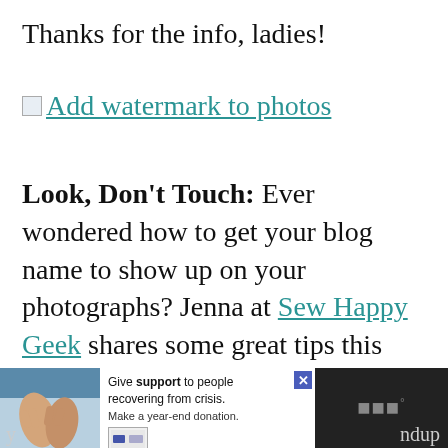Thanks for the info, ladies!
Add watermark to photos
Look, Don't Touch: Ever wondered how to get your blog name to show up on your photographs? Jenna at Sew Happy Geek shares some great tips this week on protecting your photos by adding a watermark.
[Figure (screenshot): Footer bar with advertisement overlay: hands photo on left, 'Give support to people recovering from crisis. Make a year-end donation.' ad in center with close button, website logo on right. Partial text 'y' and 'ndup' visible at bottom.]